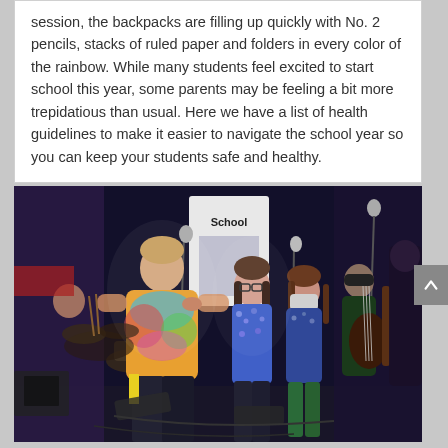session, the backpacks are filling up quickly with No. 2 pencils, stacks of ruled paper and folders in every color of the rainbow. While many students feel excited to start school this year, some parents may be feeling a bit more trepidatious than usual. Here we have a list of health guidelines to make it easier to navigate the school year so you can keep your students safe and healthy.
[Figure (photo): Children performing on stage with microphones and musical instruments in what appears to be a school concert. A boy in a tie-dye shirt sings into a microphone in the foreground, with other students including girls singing and a student playing guitar in the background. The stage has dark curtains and stage lighting.]